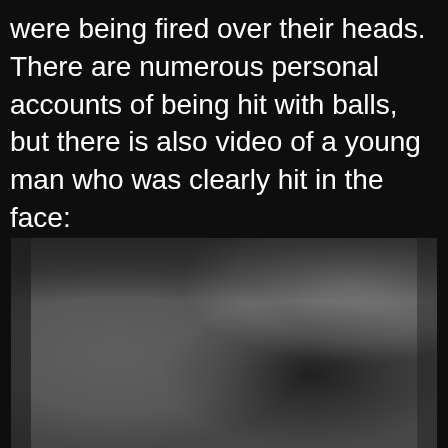were being fired over their heads. There are numerous personal accounts of being hit with balls, but there is also video of a young man who was clearly hit in the face:
[Figure (photo): A blurred, grayscale photograph showing indistinct shapes against a dark background, partially redacted or obscured.]